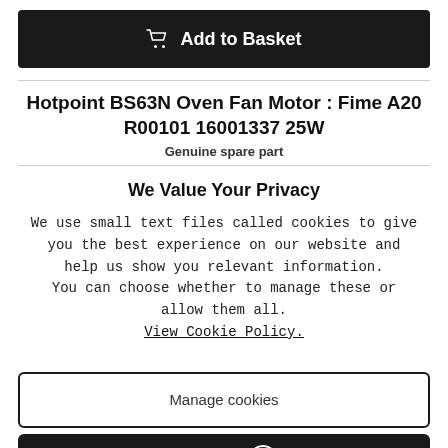[Figure (other): Add to Basket button — black rounded rectangle with shopping cart icon and white bold text]
Hotpoint BS63N Oven Fan Motor : Fime A20 R00101 16001337 25W
Genuine spare part
We Value Your Privacy
We use small text files called cookies to give you the best experience on our website and help us show you relevant information.
You can choose whether to manage these or allow them all.
View Cookie Policy.
[Figure (other): Manage cookies button — white rounded rectangle with dark border]
[Figure (other): Allow all button — black rounded rectangle with white bold text and arrow circle icon]